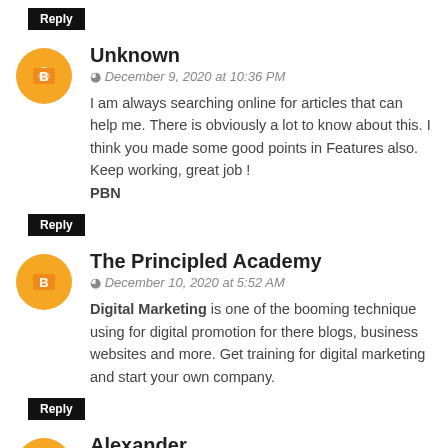Reply
Unknown
December 9, 2020 at 10:36 PM
I am always searching online for articles that can help me. There is obviously a lot to know about this. I think you made some good points in Features also. Keep working, great job ! PBN
Reply
The Principled Academy
December 10, 2020 at 5:52 AM
Digital Marketing is one of the booming technique using for digital promotion for there blogs, business websites and more. Get training for digital marketing and start your own company.
Reply
Alexander
December 16, 2020 at 3:03 AM